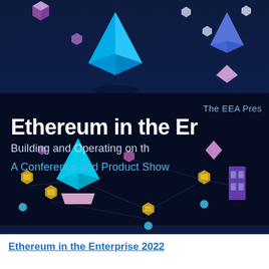[Figure (illustration): Dark blue banner background with colorful 3D blockchain/Ethereum icon decorations — Ethereum diamond logos, cube icons, hexagonal icons in purple, blue, cyan, gold, and pink colors arranged across top and bottom of the banner. Semi-transparent dark overlay band in the middle contains the event title text.]
The EEA Pres
Ethereum in the Er
Building and Operating on th
A Conference and Product Show
Ethereum in the Enterprise 2022